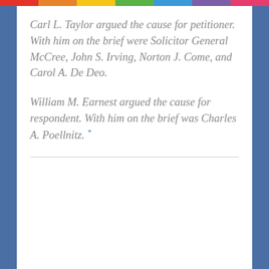Carl L. Taylor argued the cause for petitioner. With him on the brief were Solicitor General McCree, John S. Irving, Norton J. Come, and Carol A. De Deo.
William M. Earnest argued the cause for respondent. With him on the brief was Charles A. Poellnitz. *